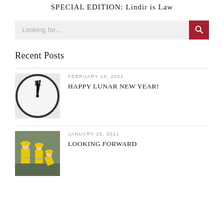SPECIAL EDITION: Lindir is Law
Looking for...
Recent Posts
[Figure (photo): Close-up of an analog clock face showing hands near 12]
FEBRUARY 18, 2021
HAPPY LUNAR NEW YEAR!
[Figure (photo): Workers in yellow safety vests and hard hats at a construction site]
JANUARY 25, 2021
LOOKING FORWARD